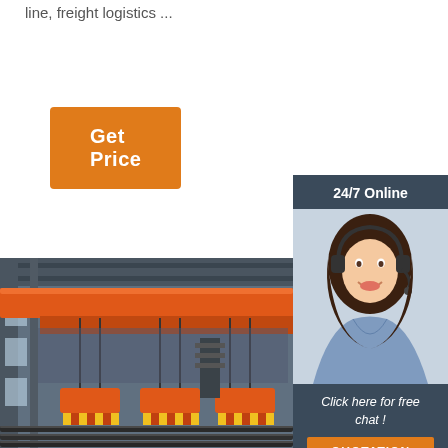line, freight logistics ...
Get Price
24/7 Online
[Figure (photo): Woman with headset smiling, customer service representative]
Click here for free chat !
QUOTATION
[Figure (photo): Industrial overhead crane in a large steel warehouse facility with red crane structure and magnetic lifting equipment]